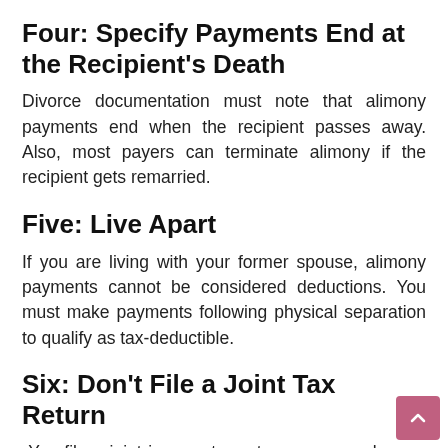Four: Specify Payments End at the Recipient's Death
Divorce documentation must note that alimony payments end when the recipient passes away. Also, most payers can terminate alimony if the recipient gets remarried.
Five: Live Apart
If you are living with your former spouse, alimony payments cannot be considered deductions. You must make payments following physical separation to qualify as tax-deductible.
Six: Don't File a Joint Tax Return
You file a joint income tax return as a couple, you cannot deduct alimony.